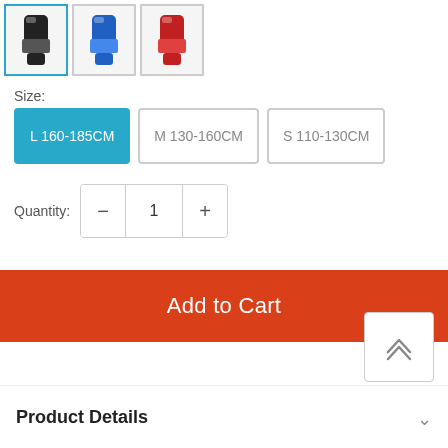[Figure (screenshot): Three product thumbnail images of shin guards: black/white (selected with blue border), blue, and red variants]
Size:
L 160-185CM | M 130-160CM | S 110-130CM
Quantity: 1
Add to Cart
Product Details